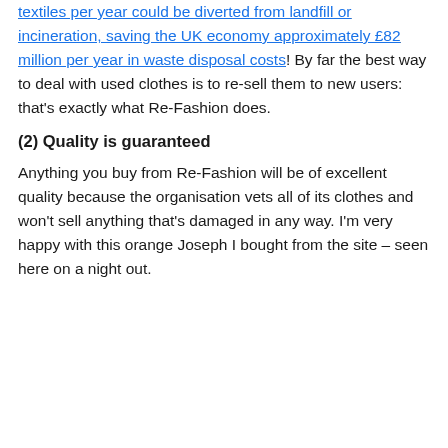textiles per year could be diverted from landfill or incineration, saving the UK economy approximately £82 million per year in waste disposal costs!  By far the best way to deal with used clothes is to re-sell them to new users: that's exactly what Re-Fashion does.
(2) Quality is guaranteed
Anything you buy from Re-Fashion will be of excellent quality because the organisation vets all of its clothes and won't sell anything that's damaged in any way.  I'm very happy with this orange Joseph I bought from the site – seen here on a night out.